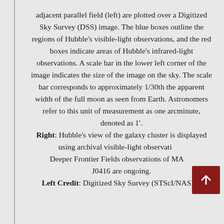adjacent parallel field (left) are plotted over a Digitized Sky Survey (DSS) image. The blue boxes outline the regions of Hubble's visible-light observations, and the red boxes indicate areas of Hubble's infrared-light observations. A scale bar in the lower left corner of the image indicates the size of the image on the sky. The scale bar corresponds to approximately 1/30th the apparent width of the full moon as seen from Earth. Astronomers refer to this unit of measurement as one arcminute, denoted as 1′. Right: Hubble's view of the galaxy cluster is displayed using archival visible-light observations. Deeper Frontier Fields observations of MACS J0416 are ongoing. Left Credit: Digitized Sky Survey (STScI/NASA),